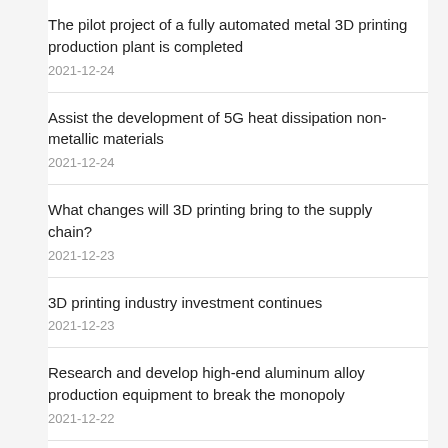The pilot project of a fully automated metal 3D printing production plant is completed
2021-12-24
Assist the development of 5G heat dissipation non-metallic materials
2021-12-24
What changes will 3D printing bring to the supply chain?
2021-12-23
3D printing industry investment continues
2021-12-23
Research and develop high-end aluminum alloy production equipment to break the monopoly
2021-12-22
Use simulation to promote the development of metal 3D printing
2021-12-22
The 3D printing craze has passed, how will it develop next?
2021-12-21